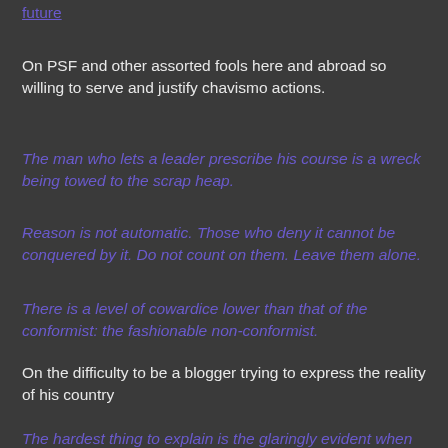future
On PSF and other assorted fools here and abroad so willing to serve and justify chavismo actions.
The man who lets a leader prescribe his course is a wreck being towed to the scrap heap.
Reason is not automatic. Those who deny it cannot be conquered by it. Do not count on them. Leave them alone.
There is a level of cowardice lower than that of the conformist: the fashionable non-conformist.
On the difficulty to be a blogger trying to express the reality of his country
The hardest thing to explain is the glaringly evident when everybody had decided not to see.
PS: readers that can find more quotes that can be linked to Venezuela today are welcome to submit them :)